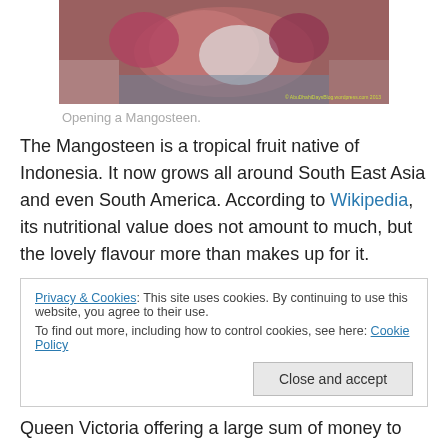[Figure (photo): Close-up photo of hands opening a mangosteen fruit, showing the pink/red exterior and white interior. Watermark reads: © AbuDhahiDaysBlog.wordpress.com 2013]
Opening a Mangosteen.
The Mangosteen is a tropical fruit native of Indonesia. It now grows all around South East Asia and even South America. According to Wikipedia, its nutritional value does not amount to much, but the lovely flavour more than makes up for it.
Privacy & Cookies: This site uses cookies. By continuing to use this website, you agree to their use.
To find out more, including how to control cookies, see here: Cookie Policy
[Close and accept]
Queen Victoria offering a large sum of money to anyone